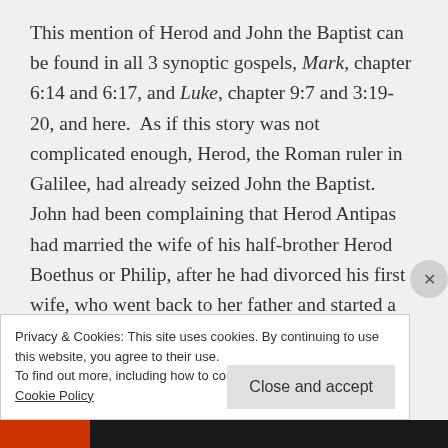This mention of Herod and John the Baptist can be found in all 3 synoptic gospels, Mark, chapter 6:14 and 6:17, and Luke, chapter 9:7 and 3:19-20, and here.  As if this story was not complicated enough, Herod, the Roman ruler in Galilee, had already seized John the Baptist.  John had been complaining that Herod Antipas had married the wife of his half-brother Herod Boethus or Philip, after he had divorced his first wife, who went back to her father and started a war with Herod Antipas.  His new wife
Privacy & Cookies: This site uses cookies. By continuing to use this website, you agree to their use.
To find out more, including how to control cookies, see here: Cookie Policy